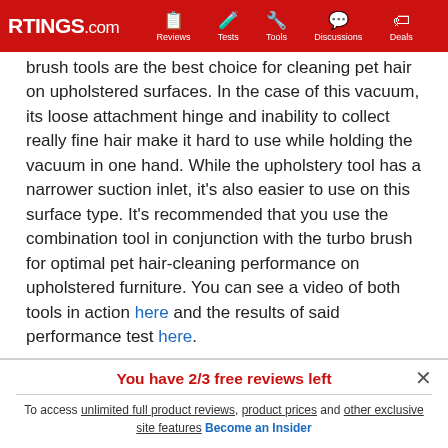RTINGS.com | Reviews | Tests | Tools | Discussions | Deals
brush tools are the best choice for cleaning pet hair on upholstered surfaces. In the case of this vacuum, its loose attachment hinge and inability to collect really fine hair make it hard to use while holding the vacuum in one hand. While the upholstery tool has a narrower suction inlet, it's also easier to use on this surface type. It's recommended that you use the combination tool in conjunction with the turbo brush for optimal pet hair-cleaning performance on upholstered furniture. You can see a video of both tools in action here and the results of said performance test here.
You have 2/3 free reviews left
To access unlimited full product reviews, product prices and other exclusive site features Become an Insider